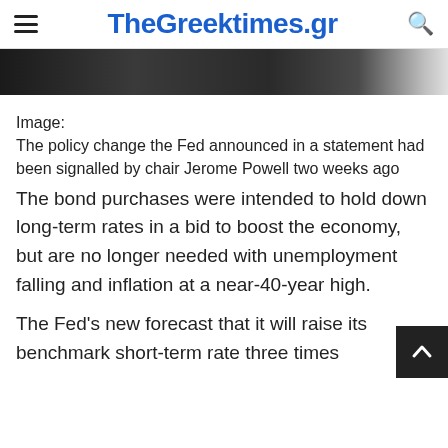TheGreektimes.gr
[Figure (photo): Partial top of a news photo, showing a dark image cut off at the top of the article]
Image:
The policy change the Fed announced in a statement had been signalled by chair Jerome Powell two weeks ago
The bond purchases were intended to hold down long-term rates in a bid to boost the economy, but are no longer needed with unemployment falling and inflation at a near-40-year high.
The Fed's new forecast that it will raise its benchmark short-term rate three times